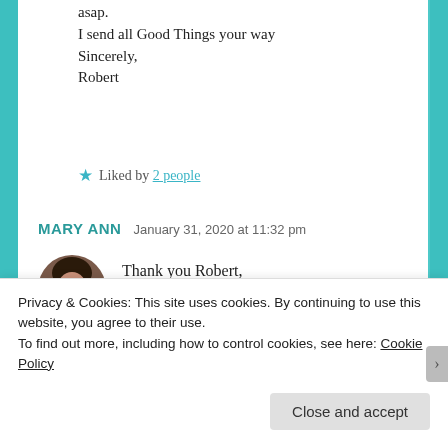asap.
I send all Good Things your way
Sincerely,
Robert
★ Liked by 2 people
MARY ANN   January 31, 2020 at 11:32 pm
[Figure (photo): Circular avatar photo of Mary Ann, a woman with dark hair]
Thank you Robert,
I appreciate your visit.
Privacy & Cookies: This site uses cookies. By continuing to use this website, you agree to their use.
To find out more, including how to control cookies, see here: Cookie Policy
Close and accept